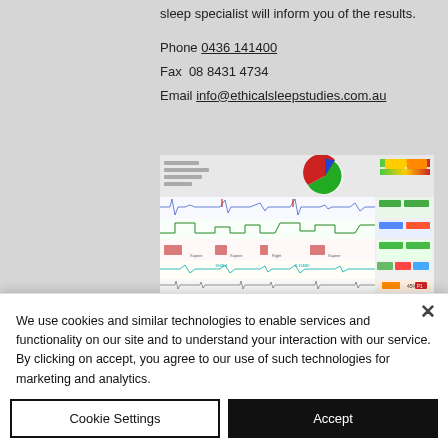sleep specialist will inform you of the results.
Phone 0436 141400
Fax 08 8431 4734
Email info@ethicalsleepstudies.com.au
[Figure (screenshot): Screenshot of a sleep study polysomnography report showing waveforms, a pie chart of sleep stages, and colored metric indicators.]
We use cookies and similar technologies to enable services and functionality on our site and to understand your interaction with our service. By clicking on accept, you agree to our use of such technologies for marketing and analytics.
Cookie Settings
Accept